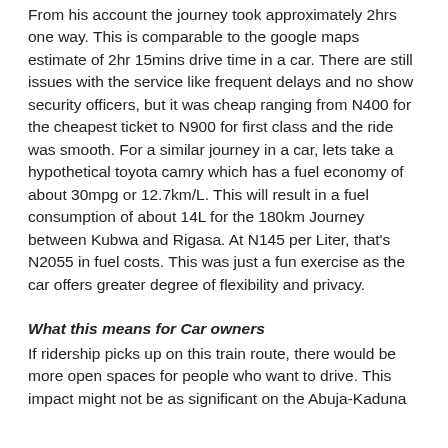From his account the journey took approximately 2hrs one way. This is comparable to the google maps estimate of 2hr 15mins drive time in a car. There are still issues with the service like frequent delays and no show security officers, but it was cheap ranging from N400 for the cheapest ticket to N900 for first class and the ride was smooth. For a similar journey in a car, lets take a hypothetical toyota camry which has a fuel economy of about 30mpg or 12.7km/L. This will result in a fuel consumption of about 14L for the 180km Journey between Kubwa and Rigasa. At N145 per Liter, that's N2055 in fuel costs. This was just a fun exercise as the car offers greater degree of flexibility and privacy.
What this means for Car owners
If ridership picks up on this train route, there would be more open spaces for people who want to drive. This impact might not be as significant on the Abuja-Kaduna